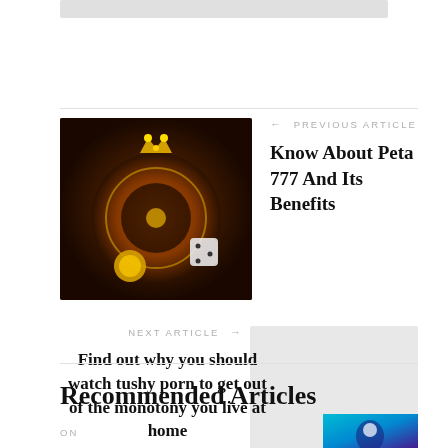[Figure (other): Gray bar at top of page]
← PREVIOUS ARTICLE
[Figure (photo): Casino roulette wheel with gold crown, dice, and coin on dark background]
Know About Peta 777 And Its Benefits
NEXT ARTICLE →
Find out why you should watch tushy porn to get out of the monotony you live at home
[Figure (photo): Light gray placeholder thumbnail for next article]
Recommended Articles
ON
[Figure (photo): Teal and purple thumbnail image for recommended article]